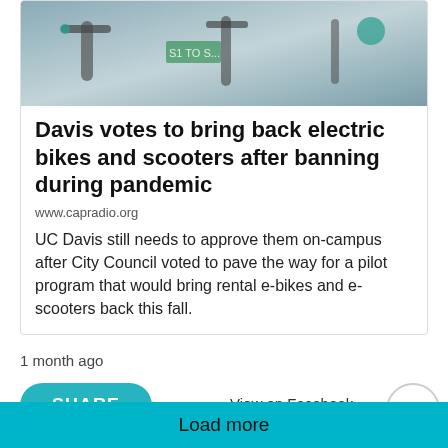[Figure (photo): Photo of electric scooters/bikes parked on a street, viewed from close up showing handlebars and controls]
Davis votes to bring back electric bikes and scooters after banning during pandemic
www.capradio.org
UC Davis still needs to approve them on-campus after City Council voted to pave the way for a pilot program that would bring rental e-bikes and e-scooters back this fall.
1 month ago
SHARE
View on Facebook
Load more